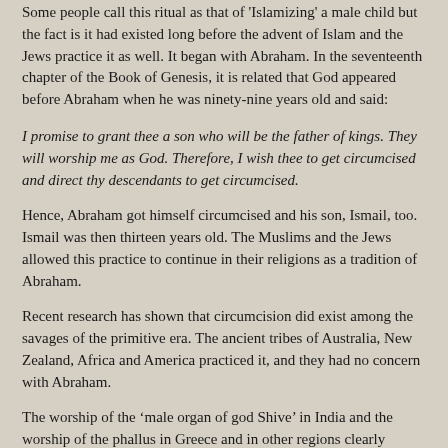Some people call this ritual as that of 'Islamizing' a male child but the fact is it had existed long before the advent of Islam and the Jews practice it as well. It began with Abraham. In the seventeenth chapter of the Book of Genesis, it is related that God appeared before Abraham when he was ninety-nine years old and said:
I promise to grant thee a son who will be the father of kings. They will worship me as God. Therefore, I wish thee to get circumcised and direct thy descendants to get circumcised.
Hence, Abraham got himself circumcised and his son, Ismail, too. Ismail was then thirteen years old. The Muslims and the Jews allowed this practice to continue in their religions as a tradition of Abraham.
Recent research has shown that circumcision did exist among the savages of the primitive era. The ancient tribes of Australia, New Zealand, Africa and America practiced it, and they had no concern with Abraham.
The worship of the ‘male organ of god Shive’ in India and the worship of the phallus in Greece and in other regions clearly indicates that this ritual is in some way or other related to the concept which was prevalent before the age of Abraham. However, to consider this ritual of the primitive age as a religious duty in Islam and to regard it as a great blessing in this world as well as a